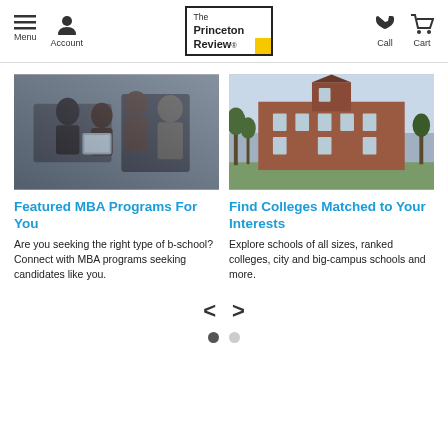Menu | Account | The Princeton Review | Call | Cart
[Figure (photo): Group of people looking at a tablet device together in an office setting]
Featured MBA Programs For You
Are you seeking the right type of b-school? Connect with MBA programs seeking candidates like you.
[Figure (photo): Brick university building exterior with trees in foreground]
Find Colleges Matched to Your Interests
Explore schools of all sizes, ranked colleges, city and big-campus schools and more.